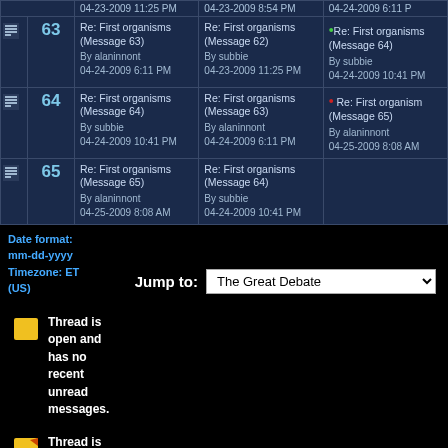|  | # | Message | In reply to | Next reply |
| --- | --- | --- | --- | --- |
|  |  | 04-23-2009 11:25 PM | 04-23-2009 8:54 PM | 04-24-2009 6:11 P |
| [icon] | 63 | Re: First organisms (Message 63)
By alaninnont
04-24-2009 6:11 PM | Re: First organisms (Message 62)
By subbie
04-23-2009 11:25 PM | Re: First organisms (Message 64)
By subbie
04-24-2009 10:41 PM |
| [icon] | 64 | Re: First organisms (Message 64)
By subbie
04-24-2009 10:41 PM | Re: First organisms (Message 63)
By alaninnont
04-24-2009 6:11 PM | Re: First organisms (Message 65)
By alaninnont
04-25-2009 8:08 AM |
| [icon] | 65 | Re: First organisms (Message 65)
By alaninnont
04-25-2009 8:08 AM | Re: First organisms (Message 64)
By subbie
04-24-2009 10:41 PM |  |
Date format: mm-dd-yyyy
Timezone: ET (US)
Jump to: The Great Debate
Thread is open and has no recent unread messages.
Thread is open and has recent unread messages.